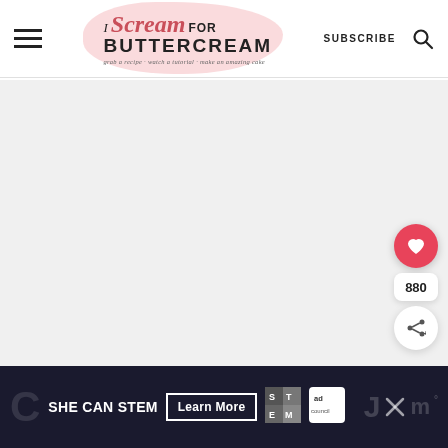I Scream for Buttercream — grab a recipe · watch a tutorial · make an amazing cake | SUBSCRIBE
[Figure (screenshot): Blank/loading main content area of the I Scream for Buttercream website]
880
[Figure (infographic): SHE CAN STEM ad banner with Learn More button, STEM logo, Ad Council logo, and partially visible letters at edges]
SHE CAN STEM  Learn More